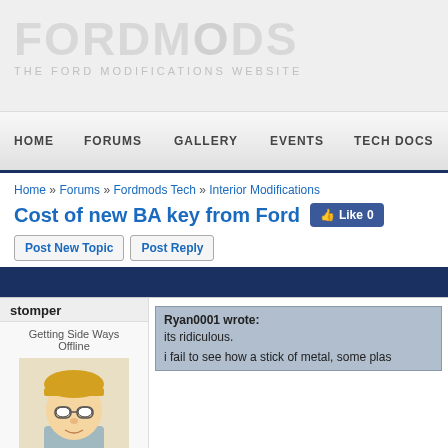[Figure (logo): FordMods logo with text FORDMODS and subtitle THE FORD MODIFICATIONS WEBSITE]
HOME   FORUMS   GALLERY   EVENTS   TECH DOCS
Home » Forums » Fordmods Tech » Interior Modifications
Cost of new BA key from Ford
Post New Topic   Post Reply
stomper
Getting Side Ways
Offline
[Figure (illustration): Avatar cartoon image of a person with blond hair and glasses]
Ryan0001 wrote:
its ridiculous.

i fail to see how a stick of metal, some plas